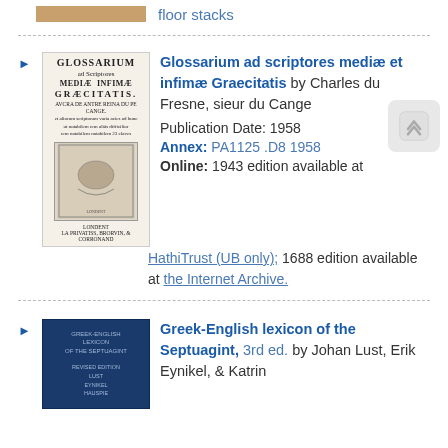floor stacks
[Figure (photo): Book cover image (top, cropped)]
Glossarium ad scriptores mediae et infimae Graecitatis by Charles du Fresne, sieur du Cange
Publication Date: 1958
Annex: PA1125 .D8 1958
Online: 1943 edition available at HathiTrust (UB only); 1688 edition available at the Internet Archive.
[Figure (photo): Cover of Glossarium ad scriptores mediae et infimae Graecitatis]
Greek-English lexicon of the Septuagint, 3rd ed. by Johan Lust, Erik Eynikel, & Katrin
[Figure (photo): Cover of Greek-English lexicon of the Septuagint (dark blue)]